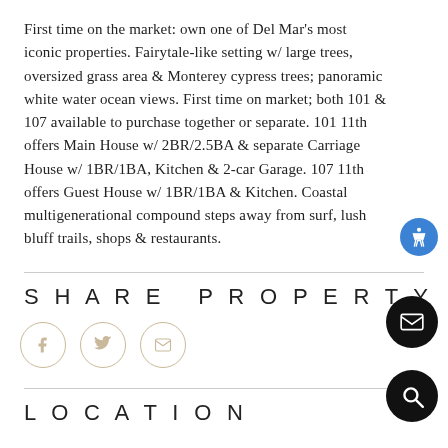First time on the market: own one of Del Mar's most iconic properties. Fairytale-like setting w/ large trees, oversized grass area & Monterey cypress trees; panoramic white water ocean views. First time on market; both 101 & 107 available to purchase together or separate. 101 11th offers Main House w/ 2BR/2.5BA & separate Carriage House w/ 1BR/1BA, Kitchen & 2-car Garage. 107 11th offers Guest House w/ 1BR/1BA & Kitchen. Coastal multigenerational compound steps away from surf, lush bluff trails, shops & restaurants.
SHARE PROPERTY
[Figure (other): Three circular social sharing icons (Facebook, Twitter, Email) with tan/gold borders]
LOCATION